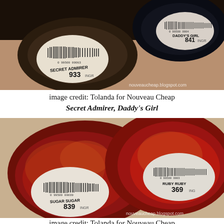[Figure (photo): Two nail polish bottles photographed from bottom showing barcodes: Secret Admirer 933 and Daddy's Girl 841. Watermark: nouveaucheap.blogspot.com]
image credit: Tolanda for Nouveau Cheap
Secret Admirer, Daddy's Girl
[Figure (photo): Two nail polish bottles photographed from bottom showing barcodes: Sugar Sugar 839 and Ruby Ruby 369. Watermark: nouveaucheap.blogspot.com]